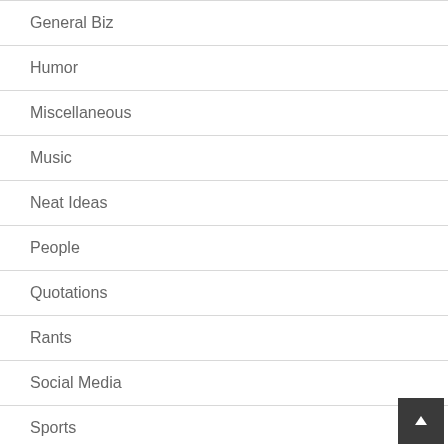General Biz
Humor
Miscellaneous
Music
Neat Ideas
People
Quotations
Rants
Social Media
Sports
Tech